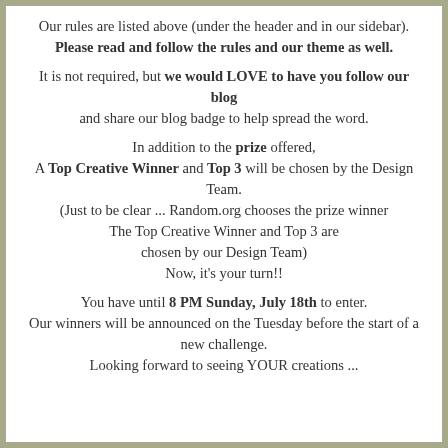Our rules are listed above (under the header and in our sidebar). Please read and follow the rules and our theme as well.

It is not required, but we would LOVE to have you follow our blog and share our blog badge to help spread the word.

In addition to the prize offered, A Top Creative Winner and Top 3 will be chosen by the Design Team. (Just to be clear ... Random.org chooses the prize winner The Top Creative Winner and Top 3 are chosen by our Design Team) Now, it's your turn!!

You have until 8 PM Sunday, July 18th to enter. Our winners will be announced on the Tuesday before the start of a new challenge. Looking forward to seeing YOUR creations ...